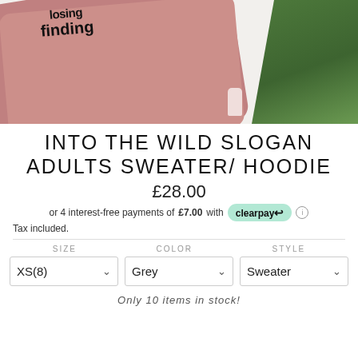[Figure (photo): Pink/mauve folded sweater with 'finding' text graphic on a fluffy white fur background with pine branches on the right side]
INTO THE WILD SLOGAN ADULTS SWEATER/ HOODIE
£28.00
or 4 interest-free payments of £7.00 with Clearpay
Tax included.
SIZE   COLOR   STYLE
XS(8)   Grey   Sweater
Only 10 items in stock!